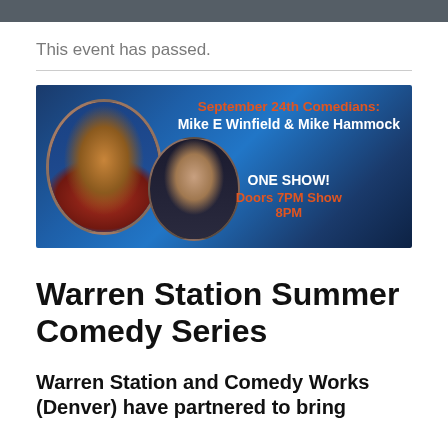This event has passed.
[Figure (photo): Event promotional banner for Warren Station Summer Comedy Series featuring two circular portrait photos of comedians against a dark blue background. Text on image reads: 'September 24th Comedians: Mike E Winfield & Mike Hammock' and 'ONE SHOW! Doors 7PM Show 8PM']
Warren Station Summer Comedy Series
Warren Station and Comedy Works (Denver) have partnered to bring